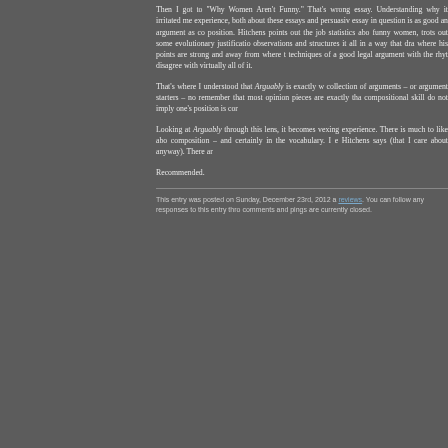Then I got to "Why Women Aren't Funny." That's wrong essay. Understanding why it irritated me experience, both about these essays and persuasively essay in question is as good an argument as could position. Hitchens points out the job statistics about funny women, trots out some evolutionary justification observations and structures it all in a way that draws where his points are strong and away from where they techniques of a good legal argument with the rhythm disagree with virtually all of it.
That's where I understood that Arguably is exactly what collection of arguments – or argument starters – not remember that most opinion pieces are exactly that compositional skill do not imply one's position is correct.
Looking at Arguably through this lens, it becomes a vexing experience. There is much to like about composition – and certainly in the vocabulary. I even Hitchens says (that I care about anyway). There are a
Recommended.
This entry was posted on Sunday, December 23rd, 2012 a reviews. You can follow any responses to this entry through comments and pings are currently closed.